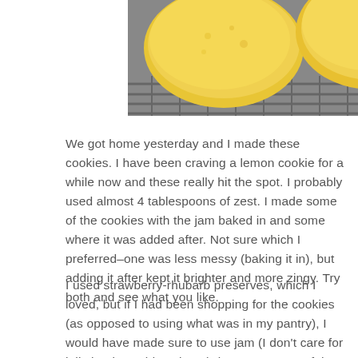[Figure (photo): Close-up photo of pale yellow lemon cookies on a wire cooling rack, shot from above at an angle. The cookies appear round and slightly domed.]
We got home yesterday and I made these cookies. I have been craving a lemon cookie for a while now and these really hit the spot. I probably used almost 4 tablespoons of zest. I made some of the cookies with the jam baked in and some where it was added after. Not sure which I preferred–one was less messy (baking it in), but adding it after kept it brighter and more zingy. Try both and see what you like.
I used strawberry-rhubarb preserves, which I loved, but if I had been shopping for the cookies (as opposed to using what was in my pantry), I would have made sure to use jam (I don't care for jelly but it would work too), because some of the chunks in the preserves were too